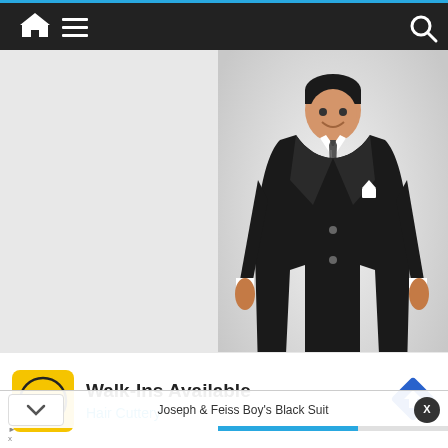Navigation bar with home, menu, and search icons
[Figure (photo): A boy wearing a Joseph & Feiss black suit with white shirt, dark tie, and pocket square, standing against a light gray background]
Joseph & Feiss Boy's Black Suit
[Figure (infographic): Hair Cuttery advertisement with yellow HC logo, Walk-Ins Available text, blue direction arrow icon]
Walk-Ins Available
Hair Cuttery